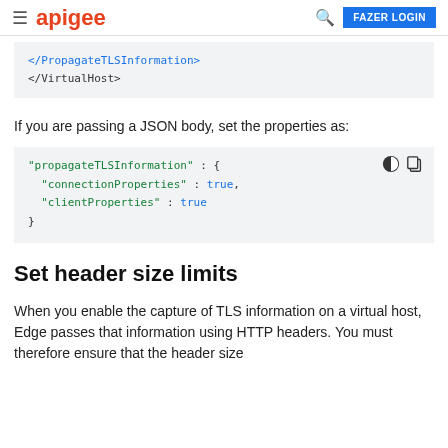apigee  FAZER LOGIN
</PropagateTLSInformation>
</VirtualHost>
If you are passing a JSON body, set the properties as:
"propagateTLSInformation" : {
  "connectionProperties" : true,
  "clientProperties" : true
}
Set header size limits
When you enable the capture of TLS information on a virtual host, Edge passes that information using HTTP headers. You must therefore ensure that the header size